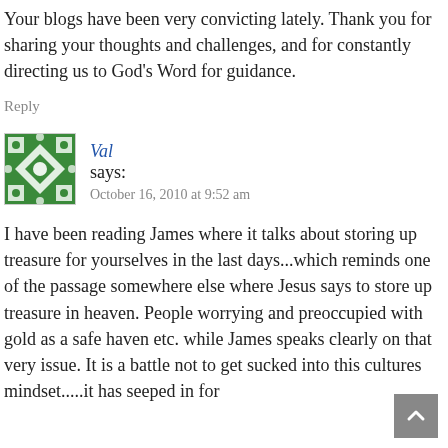Your blogs have been very convicting lately. Thank you for sharing your thoughts and challenges, and for constantly directing us to God's Word for guidance.
Reply
Val says: October 16, 2010 at 9:52 am
I have been reading James where it talks about storing up treasure for yourselves in the last days...which reminds one of the passage somewhere else where Jesus says to store up treasure in heaven. People worrying and preoccupied with gold as a safe haven etc. while James speaks clearly on that very issue. It is a battle not to get sucked into this cultures mindset.....it has seeped in for